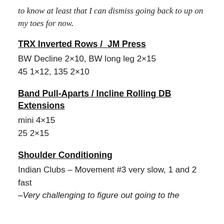to know at least that I can dismiss going back to up on my toes for now.
TRX Inverted Rows /  JM Press
BW Decline 2×10, BW long leg 2×15
45 1×12, 135 2×10
Band Pull-Aparts / Incline Rolling DB Extensions
mini 4×15
25 2×15
Shoulder Conditioning
Indian Clubs – Movement #3 very slow, 1 and 2 fast
–Very challenging to figure out going to the